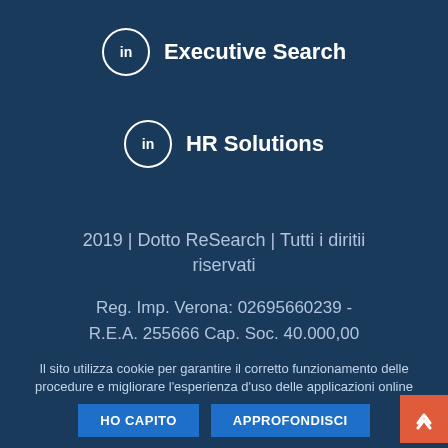[Figure (logo): LinkedIn circle icon with 'in' logo next to text 'Executive Search']
[Figure (logo): LinkedIn circle icon with 'in' logo next to text 'HR Solutions']
2019 | Dotto ReSearch | Tutti i diritii riservati
Reg. Imp. Verona: 02695660239 - R.E.A. 255666 Cap. Soc. 40.000,00 Euro i.v. C.F.e P. IVA 02695660239 Aut. de. Min. del Lavoro e della Prev.
Il sito utilizza cookie per garantire il corretto funzionamento delle procedure e migliorare l'esperienza d'uso delle applicazioni online
HO CAPITO
APPROFONDISCI